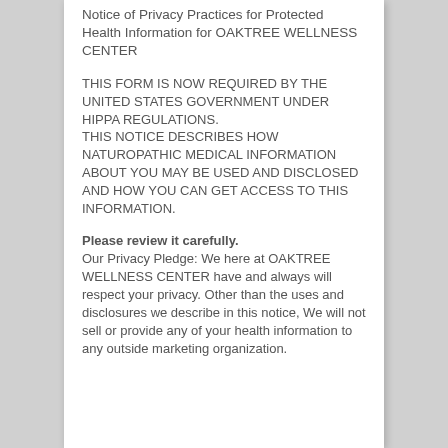Notice of Privacy Practices for Protected Health Information for OAKTREE WELLNESS CENTER
THIS FORM IS NOW REQUIRED BY THE UNITED STATES GOVERNMENT UNDER HIPPA REGULATIONS. THIS NOTICE DESCRIBES HOW NATUROPATHIC MEDICAL INFORMATION ABOUT YOU MAY BE USED AND DISCLOSED AND HOW YOU CAN GET ACCESS TO THIS INFORMATION.
Please review it carefully. Our Privacy Pledge: We here at OAKTREE WELLNESS CENTER have and always will respect your privacy. Other than the uses and disclosures we describe in this notice, We will not sell or provide any of your health information to any outside marketing organization.